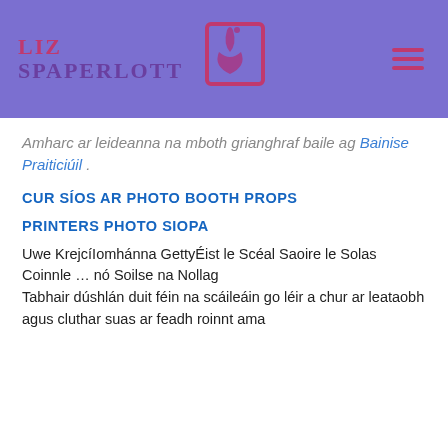LIZ SPAPERLOTT
Amharc ar leideanna na mboth grianghraf baile ag Bainise Praiticiúil .
CUR SÍOS AR PHOTO BOOTH PROPS
PRINTERS PHOTO SIOPA
Uwe KrejcíIomhánna GettyÉist le Scéal Saoire le Solas Coinnle … nó Soilse na Nollag
Tabhair dúshlán duit féin na scáileáin go léir a chur ar leataobh agus cluthar suas ar feadh roinnt ama